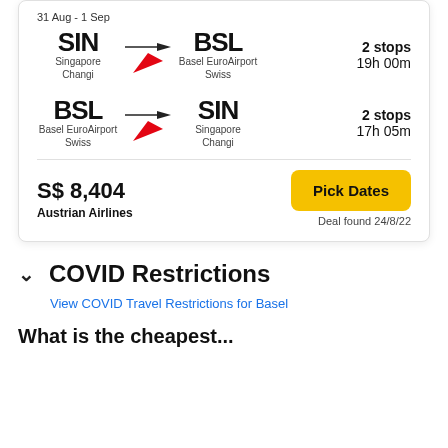31 Aug - 1 Sep
SIN → BSL | Singapore Changi → Basel EuroAirport Swiss | 2 stops 19h 00m
BSL → SIN | Basel EuroAirport Swiss → Singapore Changi | 2 stops 17h 05m
S$ 8,404
Austrian Airlines
Pick Dates
Deal found 24/8/22
COVID Restrictions
View COVID Travel Restrictions for Basel
What is the cheapest...